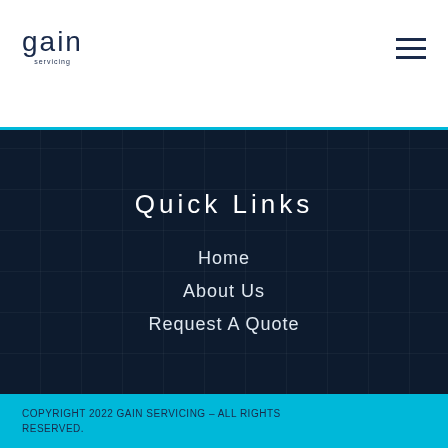gain
Quick Links
Home
About Us
Request A Quote
COPYRIGHT 2022 GAIN SERVICING – ALL RIGHTS RESERVED.